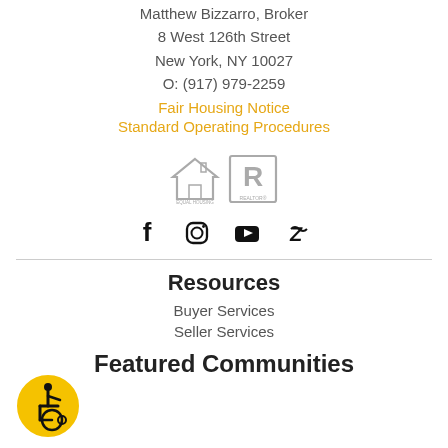BIZZARRO
Matthew Bizzarro, Broker
8 West 126th Street
New York, NY 10027
O: (917) 979-2259
Fair Housing Notice
Standard Operating Procedures
[Figure (logo): Equal Housing Opportunity and Realtor logos]
[Figure (illustration): Social media icons: Facebook, Instagram, YouTube, Zillow]
Resources
Buyer Services
Seller Services
Featured Communities
[Figure (logo): Wheelchair accessibility icon in yellow circle]